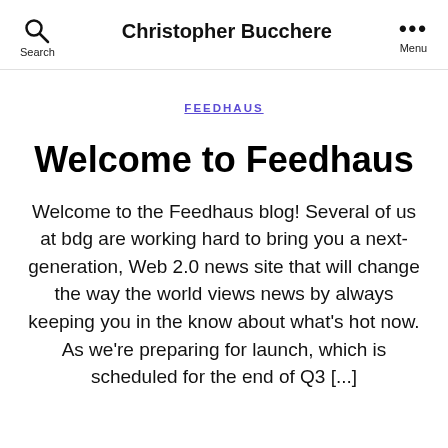Christopher Bucchere
FEEDHAUS
Welcome to Feedhaus
Welcome to the Feedhaus blog! Several of us at bdg are working hard to bring you a next-generation, Web 2.0 news site that will change the way the world views news by always keeping you in the know about what's hot now. As we're preparing for launch, which is scheduled for the end of Q3 [...]